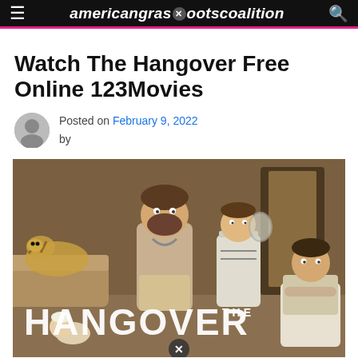americangrassdootscoalition
Watch The Hangover Free Online 123Movies
Posted on February 9, 2022 by
[Figure (photo): Movie poster for The Hangover showing three men in a wrecked hotel suite with a baby and a tiger. Large title text reads 'THE HANGOVER' at the bottom.]